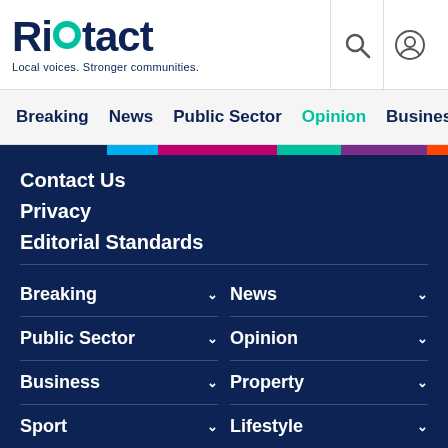[Figure (logo): Riotact logo with teal circular O, tagline: Local voices. Stronger communities.]
Breaking  News  Public Sector  Opinion  Business
Contact Us
Privacy
Editorial Standards
Breaking
News
Public Sector
Opinion
Business
Property
Sport
Lifestyle
Food & Wine
Community